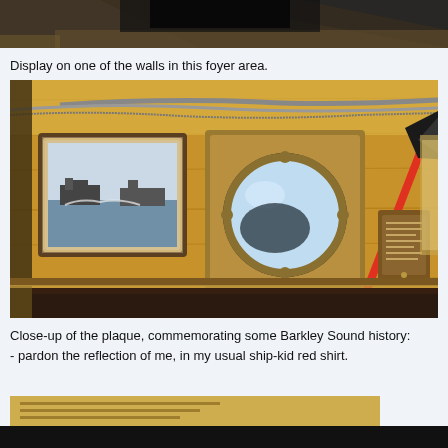[Figure (photo): Partial view of a ship interior or wooden-paneled room, top strip]
Display on one of the walls in this foyer area.
[Figure (photo): Interior of a ship foyer with wood-paneled walls showing a framed photograph of tugboats, a round porthole, a red-handled firefighting axe mounted on the wall, and a wooden commemorative plaque]
Close-up of the plaque, commemorating some Barkley Sound history:
- pardon the reflection of me, in my usual ship-kid red shirt.
[Figure (photo): Partial view of a close-up photo of the plaque, bottom strip]